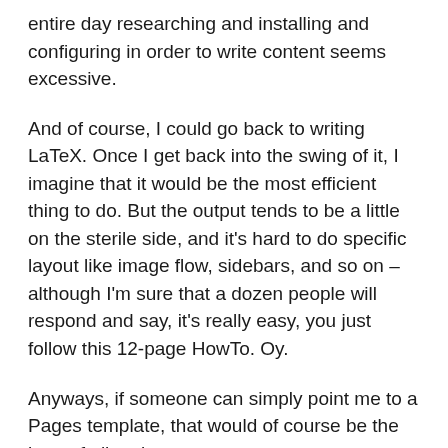entire day researching and installing and configuring in order to write content seems excessive.
And of course, I could go back to writing LaTeX. Once I get back into the swing of it, I imagine that it would be the most efficient thing to do. But the output tends to be a little on the sterile side, and it’s hard to do specific layout like image flow, sidebars, and so on – although I’m sure that a dozen people will respond and say, it’s really easy, you just follow this 12-page HowTo. Oy.
Anyways, if someone can simply point me to a Pages template, that would of course be the best of all options.
For the most part, though, it’s frustrating that one either has to be an uber-geek in order to use any of the readily-available book authoring tools, or spend a lot of money on some other tool.